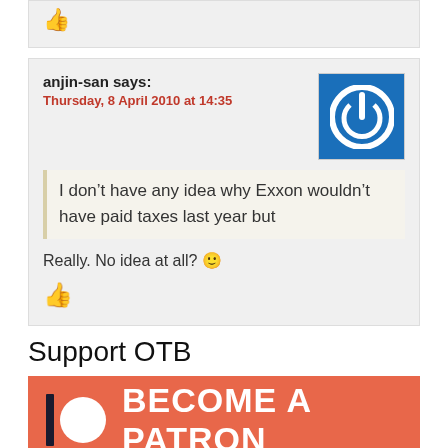[Figure (other): Thumbs up icon in red/dark red color]
anjin-san says:
Thursday, 8 April 2010 at 14:35
[Figure (logo): Power button icon on blue square background]
I don’t have any idea why Exxon wouldn’t have paid taxes last year but
Really. No idea at all? 🙂
[Figure (other): Thumbs up icon in red color]
Support OTB
[Figure (other): Patreon banner with text BECOME A PATRON on salmon/coral background with Patreon logo]